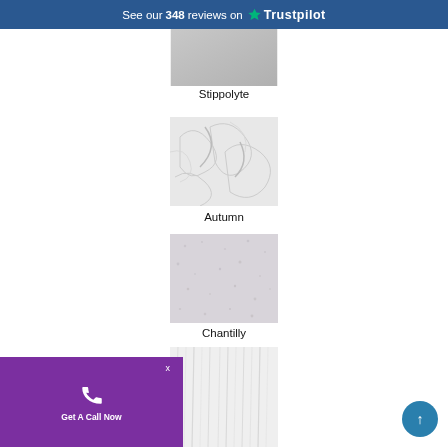See our 348 reviews on Trustpilot
[Figure (photo): Stippolyte texture swatch - smooth light grey surface]
Stippolyte
[Figure (photo): Autumn texture swatch - crumpled white paper-like texture]
Autumn
[Figure (photo): Chantilly texture swatch - light grey fine speckled texture]
Chantilly
[Figure (photo): Fourth texture swatch - white linear/stripe wood grain texture (partially visible)]
Get A Call Now